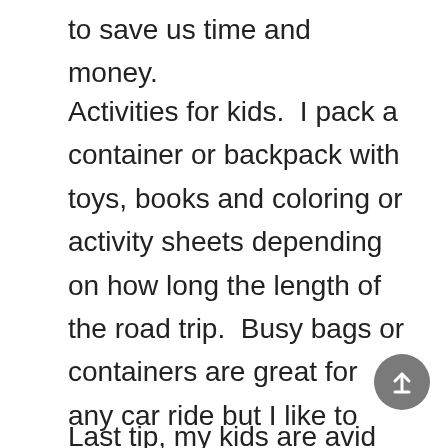to save us time and money.
Activities for kids.  I pack a container or backpack with toys, books and coloring or activity sheets depending on how long the length of the road trip.  Busy bags or containers are great for any car ride but I like to keep everything contained in a backpack if it is multiple days or weeks.  The dollar store has been a great place to find these containers perfect for playdoh kits, lego sets, and etc.  I'm sharing some free road trip printables.  Tip: Place inside sheet protector or laminate to get multiple uses out of them!
Last tip, my kids are avid readers but